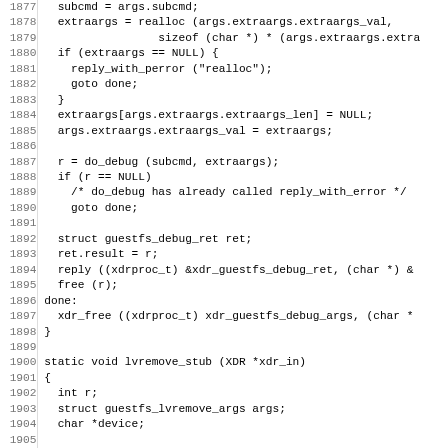[Figure (other): Source code listing in C, lines 1877-1908+, showing debug stub and lvremove_stub functions with line numbers on the left]